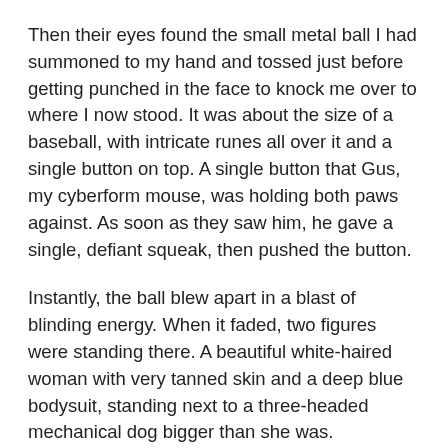Then their eyes found the small metal ball I had summoned to my hand and tossed just before getting punched in the face to knock me over to where I now stood. It was about the size of a baseball, with intricate runes all over it and a single button on top. A single button that Gus, my cyberform mouse, was holding both paws against. As soon as they saw him, he gave a single, defiant squeak, then pushed the button.
Instantly, the ball blew apart in a blast of blinding energy. When it faded, two figures were standing there. A beautiful white-haired woman with very tanned skin and a deep blue bodysuit, standing next to a three-headed mechanical dog bigger than she was.
A three-headed mechanical dog whose entire purpose had been to hunt and kill undead things.